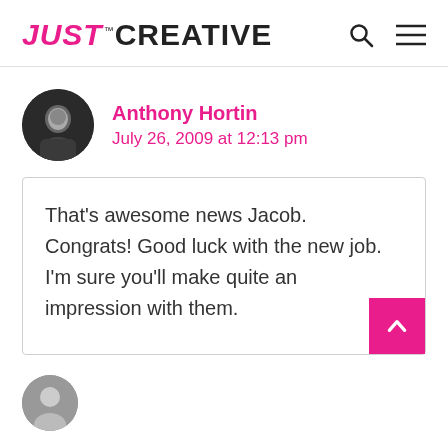JUST CREATIVE
Anthony Hortin
July 26, 2009 at 12:13 pm
That’s awesome news Jacob. Congrats! Good luck with the new job. I’m sure you’ll make quite an impression with them.